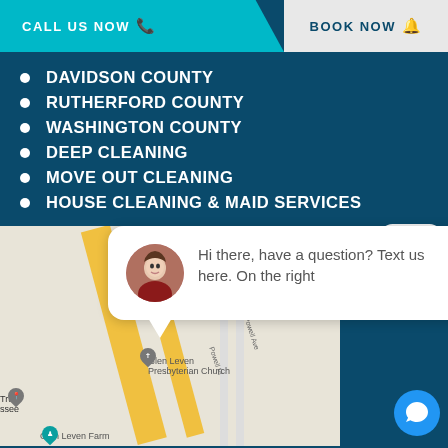CALL US NOW  |  BOOK NOW
DAVIDSON COUNTY
RUTHERFORD COUNTY
WASHINGTON COUNTY
DEEP CLEANING
MOVE OUT CLEANING
HOUSE CLEANING & MAID SERVICES
[Figure (screenshot): Screenshot of a website showing a Google Maps embed with a chat widget overlay. Map shows Glen Leven Presbyterian Church, Glen Leven Farm, Powell Pl and Powell Ave roads. Chat widget shows avatar photo of woman and text: Hi there, have a question? Text us here. On the right. A close button and a blue chat icon button are visible.]